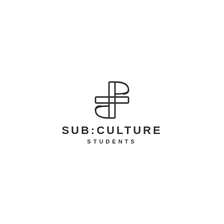[Figure (logo): SUB:CULTURE STUDENTS logo with an interlocking S and C cross/monogram symbol above the text. The icon features two interlocked letter forms (S and C) arranged as a cross/plus shape. Below reads SUB:CULTURE in bold uppercase spaced lettering, and STUDENTS in smaller spaced uppercase below that.]